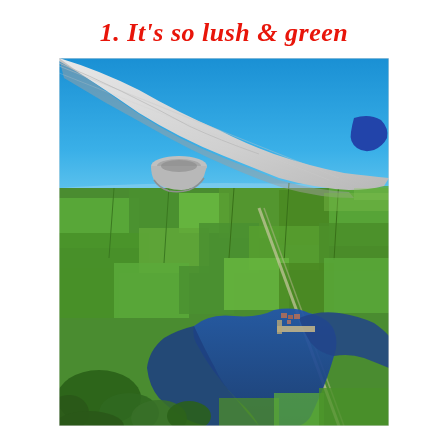1. It's so lush & green
[Figure (photo): Aerial view from an airplane window showing the airplane wing, lush green fields divided into irregular patches, a winding dark blue lake or river, roads, and a bright blue sky above.]